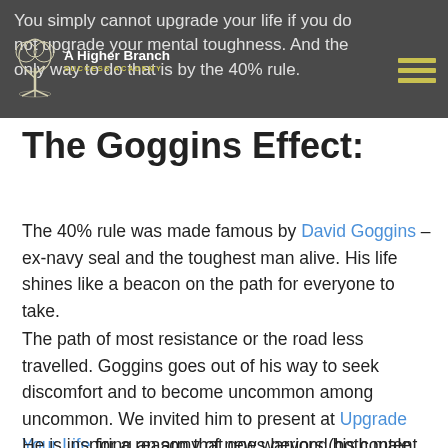You simply cannot upgrade your life if you do not upgrade your mental toughness. And the only way to do that is by the 40% rule.
The Goggins Effect:
The 40% rule was made famous by David Goggins – ex-navy seal and the toughest man alive. His life shines like a beacon on the path for everyone to take.
The path of most resistance or the road less travelled. Goggins goes out of his way to seek discomfort and to become uncommon among uncommon. We invited him to present at Upgrade Your Life for a reason that goes beyond his content.
He is inspiring an army of new warriors (both male